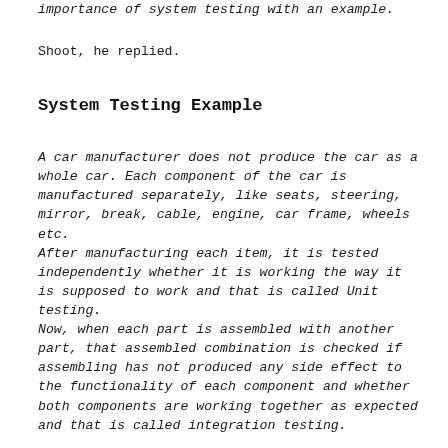importance of system testing with an example.
Shoot, he replied.
System Testing Example
A car manufacturer does not produce the car as a whole car. Each component of the car is manufactured separately, like seats, steering, mirror, break, cable, engine, car frame, wheels etc.
After manufacturing each item, it is tested independently whether it is working the way it is supposed to work and that is called Unit testing.
Now, when each part is assembled with another part, that assembled combination is checked if assembling has not produced any side effect to the functionality of each component and whether both components are working together as expected and that is called integration testing.